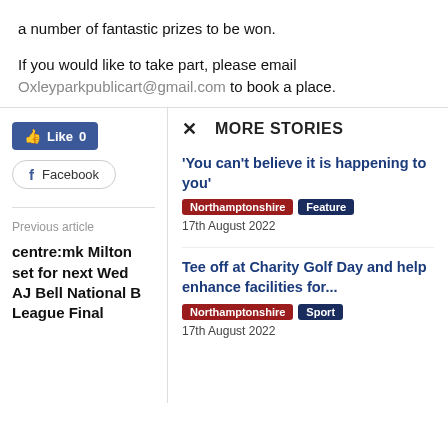a number of fantastic prizes to be won.
If you would like to take part, please email Oxleyparkpublicart@gmail.com to book a place.
Like 0
Facebook
Previous article
centre:mk Milton set for next Wed AJ Bell National B League Final
MORE STORIES
'You can't believe it is happening to you'
Northamptonshire Feature
17th August 2022
Tee off at Charity Golf Day and help enhance facilities for...
Northamptonshire Sport
17th August 2022